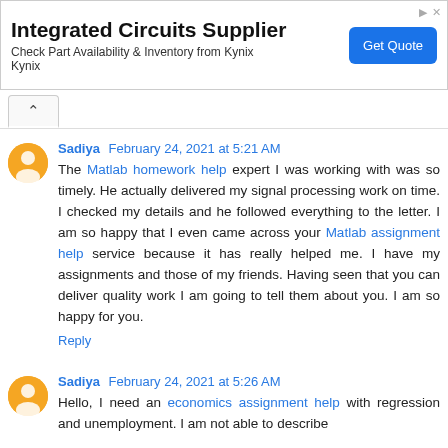[Figure (other): Advertisement banner for Integrated Circuits Supplier - Kynix, with Get Quote button]
Sadiya February 24, 2021 at 5:21 AM
The Matlab homework help expert I was working with was so timely. He actually delivered my signal processing work on time. I checked my details and he followed everything to the letter. I am so happy that I even came across your Matlab assignment help service because it has really helped me. I have my assignments and those of my friends. Having seen that you can deliver quality work I am going to tell them about you. I am so happy for you.
Reply
Sadiya February 24, 2021 at 5:26 AM
Hello, I need an economics assignment help with regression and unemployment. I am not able to describe